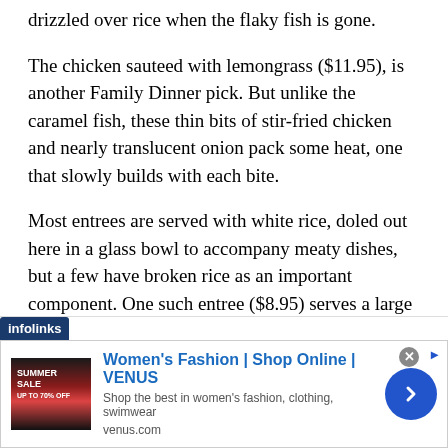drizzled over rice when the flaky fish is gone.
The chicken sauteed with lemongrass ($11.95), is another Family Dinner pick. But unlike the caramel fish, these thin bits of stir-fried chicken and nearly translucent onion pack some heat, one that slowly builds with each bite.
Most entrees are served with white rice, doled out here in a glass bowl to accompany meaty dishes, but a few have broken rice as an important component. One such entree ($8.95) serves a large mound of the bead-like rice – meant to have fish sauce poured over it, a server advises – with dry shredded pork and a savory, fat-trimmed and grill-scored
[Figure (advertisement): Women's Fashion | Shop Online | VENUS advertisement with infolinks label, showing a sale image, ad title, subtitle 'Shop the best in women's fashion, clothing, swimwear', URL venus.com, close button, and blue arrow button]